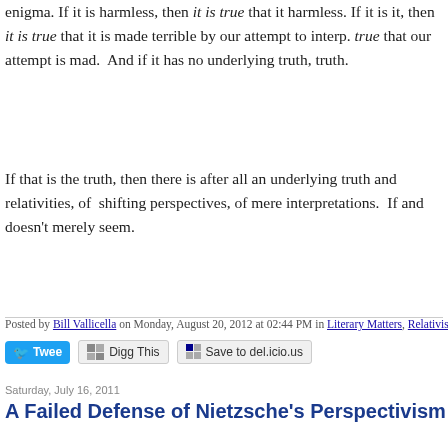enigma. If it is harmless, then it is true that it harmless. If it is it, then it is true that it is made terrible by our attempt to interp. true that our attempt is mad. And if it has no underlying truth, truth.
If that is the truth, then there is after all an underlying truth and relativities, of shifting perspectives, of mere interpretations. If and doesn't merely seem.
Posted by Bill Vallicella on Monday, August 20, 2012 at 02:44 PM in Literary Matters, Relativism
Tweet | Digg This | Save to del.icio.us
Saturday, July 16, 2011
A Failed Defense of Nietzsche's Perspectivism
Prowling the Web for material on Nietzsche and the genetic fallacy, I stumbled acr a Theological Resource," Modern Theology 13:2 (April 1997), p. 218:
Perspectivism need not be presented as an absolute truth; it can be presented as an account of how reality looks from where one is situated. It does not thereby cease to be of value. The account of the game given by the winning coach cannot claim to be THE truth about the game: other accounts must be taken into account, including those from the losing coach, the players, the